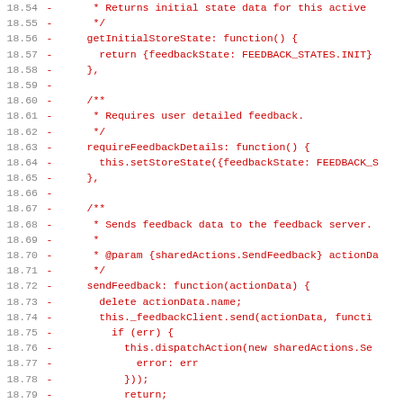[Figure (screenshot): Code diff screenshot showing deleted lines (prefixed with minus sign) in red monospace font, line numbers 18.54 through 18.85, showing JavaScript code for a store with methods getInitialStoreState, requireFeedbackDetails, and sendFeedback.]